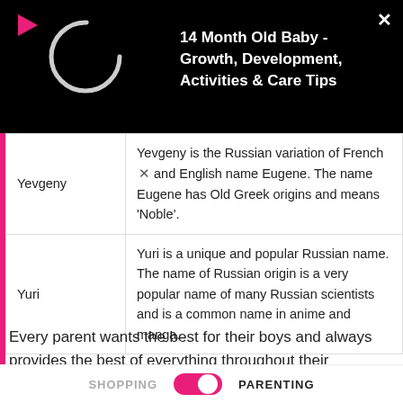[Figure (screenshot): Video player overlay banner with play icon, loading circle, and title '14 Month Old Baby - Growth, Development, Activities & Care Tips' on black background with close X button]
| Name | Description |
| --- | --- |
| Yevgeny | Yevgeny is the Russian variation of French and English name Eugene. The name Eugene has Old Greek origins and means 'Noble'. |
| Yuri | Yuri is a unique and popular Russian name. The name of Russian origin is a very popular name of many Russian scientists and is a common name in anime and manga. |
Every parent wants the best for their boys and always provides the best of everything throughout their schooling
SHOPPING   PARENTING